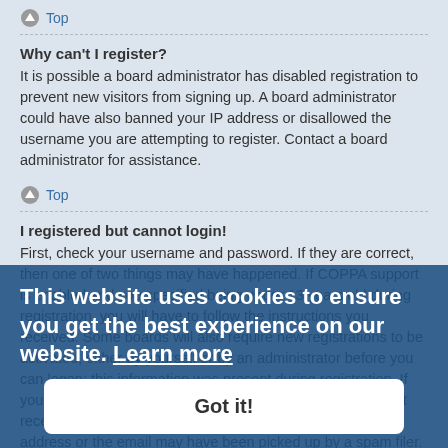↑ Top
Why can't I register?
It is possible a board administrator has disabled registration to prevent new visitors from signing up. A board administrator could have also banned your IP address or disallowed the username you are attempting to register. Contact a board administrator for assistance.
↑ Top
I registered but cannot login!
First, check your username and password. If they are correct, then one of two things may have happened. If COPPA support is enabled and you specified being under 13 years old during registration, you will have to follow the instructions you received. Some boards will also require new registrations to be activated, either by yourself or by an administrator before you can logon; this information was present during registration. If you were sent an email, follow the instructions. If you did not receive an email, you may have provided an incorrect email address or the email may have been picked up by a spam filer. If you are sure the email address you provided is correct, try contacting an administrator.
↑ Top
Why can't I login?
There are several reasons why this could occur. First, ensure your username and password are correct. If they are, contact a board administrator to make
This website uses cookies to ensure you get the best experience on our website. Learn more
Got it!